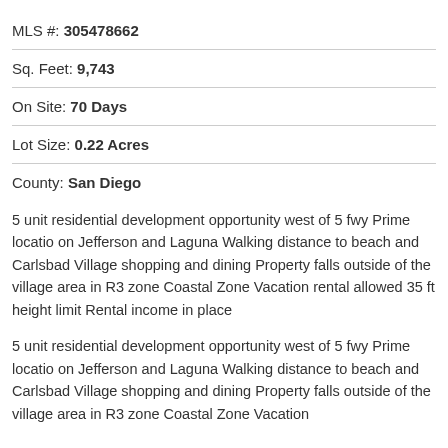MLS #: 305478662
Sq. Feet: 9,743
On Site: 70 Days
Lot Size: 0.22 Acres
County: San Diego
5 unit residential development opportunity west of 5 fwy Prime locatio on Jefferson and Laguna Walking distance to beach and Carlsbad Village shopping and dining Property falls outside of the village area in R3 zone Coastal Zone Vacation rental allowed 35 ft height limit Rental income in place
5 unit residential development opportunity west of 5 fwy Prime locatio on Jefferson and Laguna Walking distance to beach and Carlsbad Village shopping and dining Property falls outside of the village area in R3 zone Coastal Zone Vacation